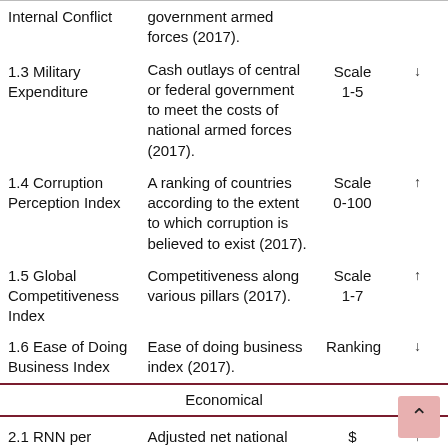| Indicator | Description | Unit | Direction |
| --- | --- | --- | --- |
| Internal Conflict | government armed forces (2017). |  |  |
| 1.3 Military Expenditure | Cash outlays of central or federal government to meet the costs of national armed forces (2017). | Scale 1-5 | ↓ |
| 1.4 Corruption Perception Index | A ranking of countries according to the extent to which corruption is believed to exist (2017). | Scale 0-100 | ↑ |
| 1.5 Global Competitiveness Index | Competitiveness along various pillars (2017). | Scale 1-7 | ↑ |
| 1.6 Ease of Doing Business Index | Ease of doing business index (2017). | Ranking | ↓ |
| Economical |  |  |  |
| 2.1 RNN per Capita | Adjusted net national income per capita (Current USD)
Gross National Product | $ | ↑ |